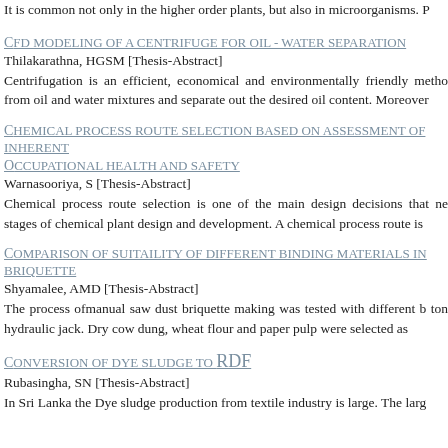It is common not only in the higher order plants, but also in microorganisms. P
CFD MODELING OF A CENTRIFUGE FOR OIL - WATER SEPARATION
Thilakarathna, HGSM [Thesis-Abstract]
Centrifugation is an efficient, economical and environmentally friendly metho from oil and water mixtures and separate out the desired oil content. Moreover
CHEMICAL PROCESS ROUTE SELECTION BASED ON ASSESSMENT OF INHERENT OCCUPATIONAL HEALTH AND SAFETY
Warnasooriya, S [Thesis-Abstract]
Chemical process route selection is one of the main design decisions that ne stages of chemical plant design and development. A chemical process route is
COMPARISON OF SUITAILITY OF DIFFERENT BINDING MATERIALS IN BRIQUETTE
Shyamalee, AMD [Thesis-Abstract]
The process ofmanual saw dust briquette making was tested with different b ton hydraulic jack. Dry cow dung, wheat flour and paper pulp were selected as
CONVERSION OF DYE SLUDGE TO RDF
Rubasingha, SN [Thesis-Abstract]
In Sri Lanka the Dye sludge production from textile industry is large. The larg